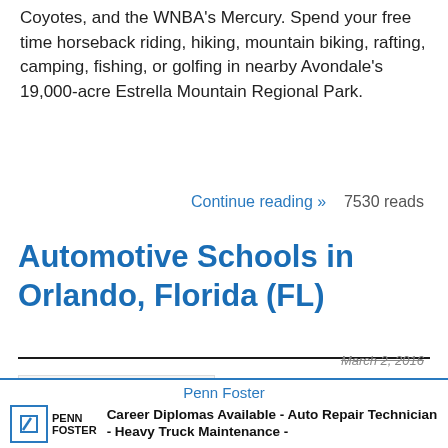Coyotes, and the WNBA's Mercury. Spend your free time horseback riding, hiking, mountain biking, rafting, camping, fishing, or golfing in nearby Avondale's 19,000-acre Estrella Mountain Regional Park.
Continue reading »    7530 reads
Automotive Schools in Orlando, Florida (FL)
March 2, 2016
[Figure (logo): City of Orlando, Florida official seal — circular blue bordered seal with a city landscape illustration and text reading CITY OF ORLANDO, FLORIDA and THE CITY BEAUTIFUL]
One of the world's premier leisure destinations, Orlando is also one of the fastest-growing cities in the United States. The city has a reputation for being clean
Penn Foster
Career Diplomas Available - Auto Repair Technician - Heavy Truck Maintenance -